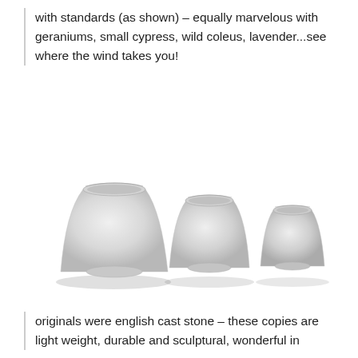with standards (as shown) – equally marvelous with geraniums, small cypress, wild coleus, lavender...see where the wind takes you!
[Figure (photo): Three white/light grey cast stone-style planter pots of decreasing size arranged left to right on a white background, each with a wide flared rim and tapered body.]
originals were english cast stone – these copies are light weight, durable and sculptural, wonderful in